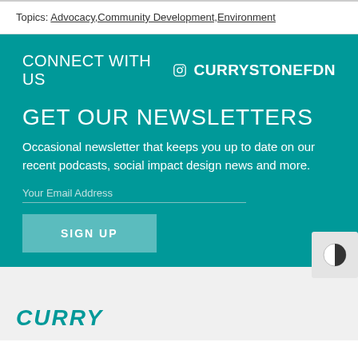Topics: Advocacy, Community Development, Environment
CONNECT WITH US @ currystonefdn
GET OUR NEWSLETTERS
Occasional newsletter that keeps you up to date on our recent podcasts, social impact design news and more.
Your Email Address
SIGN UP
[Figure (logo): CURRY text logo in teal italic bold font]